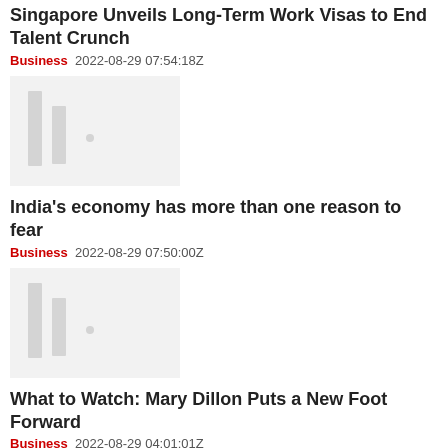Singapore Unveils Long-Term Work Visas to End Talent Crunch
Business   2022-08-29 07:54:18Z
[Figure (photo): Blurred/redacted thumbnail image placeholder with vertical bar graphics]
India's economy has more than one reason to fear
Business   2022-08-29 07:50:00Z
[Figure (photo): Blurred/redacted thumbnail image placeholder with vertical bar graphics]
What to Watch: Mary Dillon Puts a New Foot Forward
Business   2022-08-29 04:01:01Z
[Figure (photo): Blurred/redacted thumbnail image placeholder with vertical bar graphics]